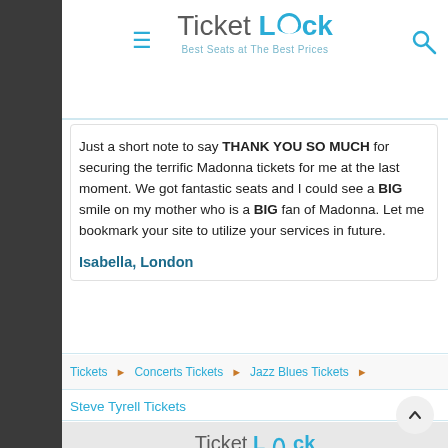Ticket Luck — Best Seats at The Best Prices
Just a short note to say THANK YOU SO MUCH for securing the terrific Madonna tickets for me at the last moment. We got fantastic seats and I could see a BIG smile on my mother who is a BIG fan of Madonna. Let me bookmark your site to utilize your services in future.
Isabella, London
Tickets ▶ Concerts Tickets ▶ Jazz Blues Tickets ▶
Steve Tyrell Tickets
Ticket Luck — Best Seats at The Best Prices © 2009 - 2022 www.ticketluck.com Policies View all Tickets